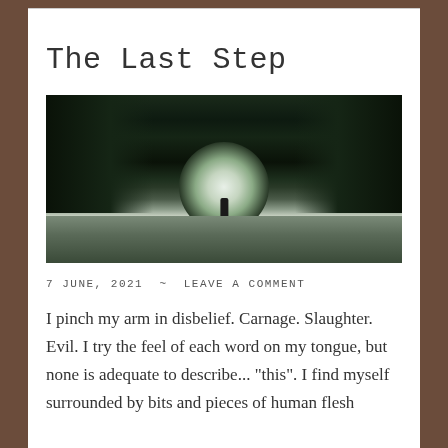The Last Step
[Figure (photo): Dark atmospheric photo of a tunnel or forest path with a bright light at the end and a lone silhouetted figure walking toward the light, surrounded by dark trees]
7 JUNE, 2021 ~ LEAVE A COMMENT
I pinch my arm in disbelief. Carnage. Slaughter. Evil. I try the feel of each word on my tongue, but none is adequate to describe... "this". I find myself surrounded by bits and pieces of human flesh